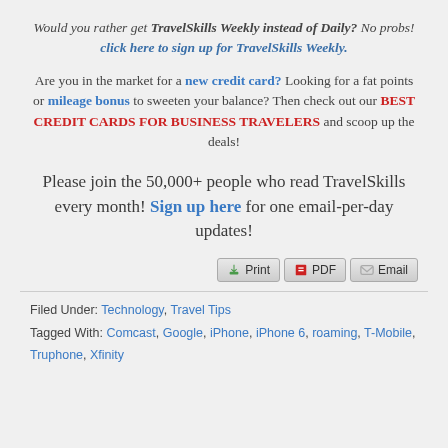Would you rather get TravelSkills Weekly instead of Daily? No probs! click here to sign up for TravelSkills Weekly.
Are you in the market for a new credit card? Looking for a fat points or mileage bonus to sweeten your balance? Then check out our BEST CREDIT CARDS FOR BUSINESS TRAVELERS and scoop up the deals!
Please join the 50,000+ people who read TravelSkills every month! Sign up here for one email-per-day updates!
Filed Under: Technology, Travel Tips
Tagged With: Comcast, Google, iPhone, iPhone 6, roaming, T-Mobile, Truphone, Xfinity